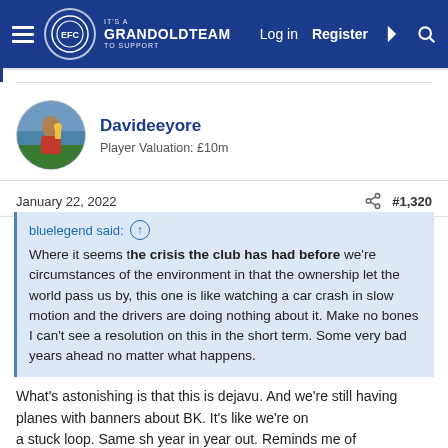GrandOldTeam — Log in  Register
[Figure (screenshot): Forum user avatar — circular photo of a person holding a trophy]
Davideeyore
Player Valuation: £10m
January 22, 2022    #1,320
bluelegend said: ↑
Where it seems the crisis the club has had before we're circumstances of the environment in that the ownership let the world pass us by, this one is like watching a car crash in slow motion and the drivers are doing nothing about it. Make no bones I can't see a resolution on this in the short term. Some very bad years ahead no matter what happens.
What's astonishing is that this is dejavu. And we're still having planes with banners about BK. It's like we're on a stuck loop. Same sh year in year out. Reminds me of Groundhog Day.